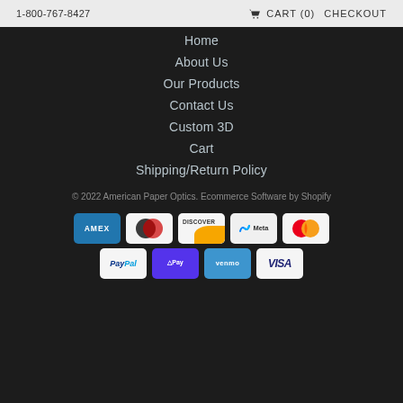1-800-767-8427   CART (0)   CHECKOUT
Home
About Us
Our Products
Contact Us
Custom 3D
Cart
Shipping/Return Policy
© 2022 American Paper Optics. Ecommerce Software by Shopify
[Figure (other): Payment method logos: American Express, Diners Club, Discover, Meta Pay, Mastercard, PayPal, Shop Pay, Venmo, Visa]